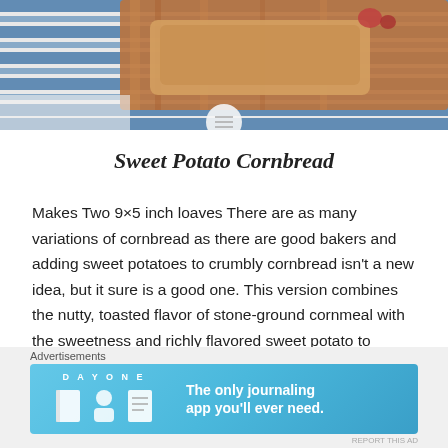[Figure (photo): Photo of baked cornbread on a wooden cutting board with blue and white striped cloth in background]
Sweet Potato Cornbread
Makes Two 9×5 inch loaves There are as many variations of cornbread as there are good bakers and adding sweet potatoes to crumbly cornbread isn't a new idea, but it sure is a good one. This version combines the nutty, toasted flavor of stone-ground cornmeal with the sweetness and richly flavored sweet potato to produce...
[Figure (screenshot): DAY ONE app advertisement banner — The only journaling app you'll ever need.]